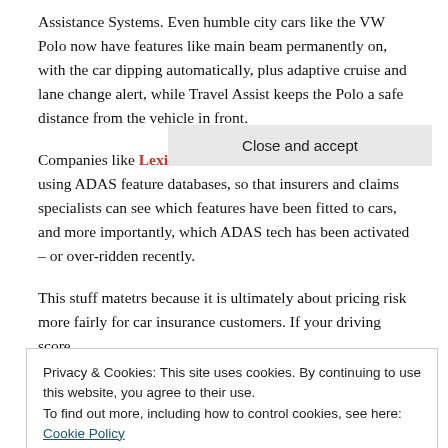Assistance Systems. Even humble city cars like the VW Polo now have features like main beam permanently on, with the car dipping automatically, plus adaptive cruise and lane change alert, while Travel Assist keeps the Polo a safe distance from the vehicle in front.
Companies like LexisNexis and Cazoo Data Services are using ADAS feature databases, so that insurers and claims specialists can see which features have been fitted to cars, and more importantly, which ADAS tech has been activated – or over-ridden recently.
This stuff matetrs because it is ultimately about pricing risk more fairly for car insurance customers. If your driving score,
Privacy & Cookies: This site uses cookies. By continuing to use this website, you agree to their use.
To find out more, including how to control cookies, see here: Cookie Policy
Close and accept
...monthly subscription policy, which is truly flexible and directly reflect the actual data by the same of...